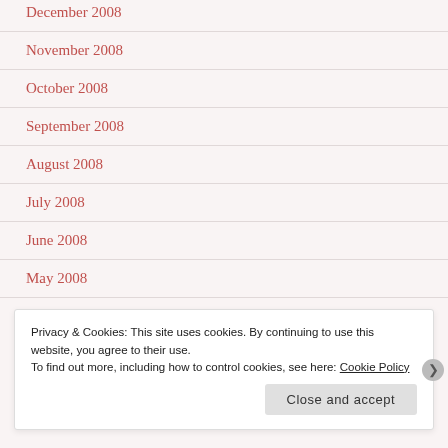December 2008
November 2008
October 2008
September 2008
August 2008
July 2008
June 2008
May 2008
Privacy & Cookies: This site uses cookies. By continuing to use this website, you agree to their use.
To find out more, including how to control cookies, see here: Cookie Policy
Close and accept